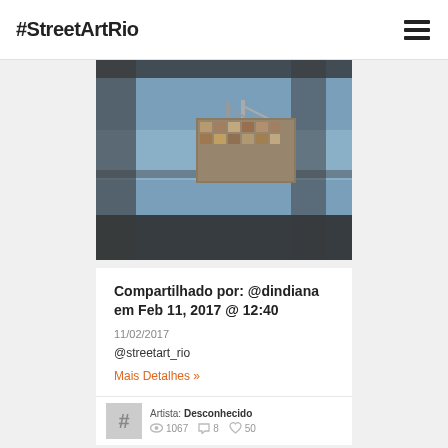#StreetArtRio
[Figure (photo): Interior view of a modern building with glass walls looking out to water and cranes, with a mosaic/mural artwork visible in the background]
Compartilhado por: @dindiana em Feb 11, 2017 @ 12:40
11/02/2017
@streetart_rio
Mais Detalhes »
Artista: Desconhecido
1067  8  50